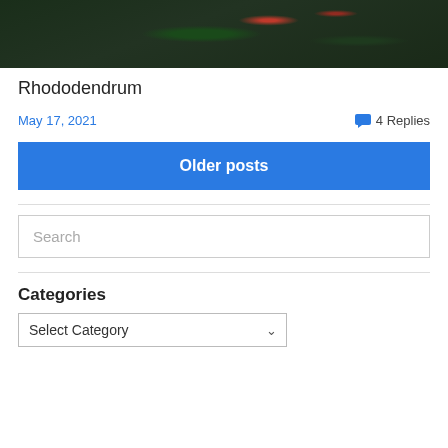[Figure (photo): Close-up photo of rhododendrum flowers and dark green foliage, dark moody tones]
Rhododendrum
May 17, 2021    4 Replies
Older posts
Search
Categories
Select Category